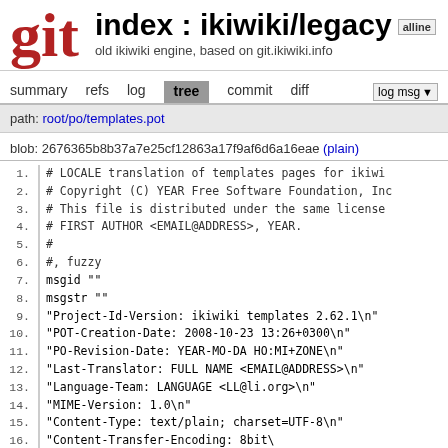index : ikiwiki/legacy
old ikiwiki engine, based on git.ikiwiki.info
summary  refs  log  tree  commit  diff
path: root/po/templates.pot
blob: 2676365b8b37a7e25cf12863a17f9af6d6a16eae (plain)
1.  # LOCALE translation of templates pages for ikiwiki
2.  # Copyright (C) YEAR Free Software Foundation, Inc
3.  # This file is distributed under the same license
4.  # FIRST AUTHOR <EMAIL@ADDRESS>, YEAR.
5.  #
6.  #, fuzzy
7.  msgid ""
8.  msgstr ""
9.  "Project-Id-Version: ikiwiki templates 2.62.1\n"
10. "POT-Creation-Date: 2008-10-23 13:26+0300\n"
11. "PO-Revision-Date: YEAR-MO-DA HO:MI+ZONE\n"
12. "Last-Translator: FULL NAME <EMAIL@ADDRESS>\n"
13. "Language-Team: LANGUAGE <LL@li.org>\n"
14. "MIME-Version: 1.0\n"
15. "Content-Type: text/plain; charset=UTF-8\n"
16. "Content-Transfer-Encoding: 8bit\n"